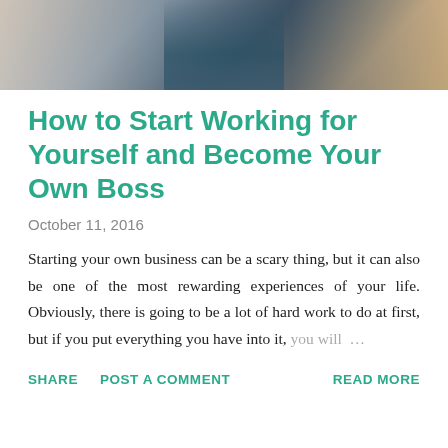[Figure (photo): Cropped top portion of a photo showing a person in a blue outfit inside a store, with wooden floors and shelving visible in the background.]
How to Start Working for Yourself and Become Your Own Boss
October 11, 2016
Starting your own business can be a scary thing, but it can also be one of the most rewarding experiences of your life. Obviously, there is going to be a lot of hard work to do at first, but if you put everything you have into it, you will …
SHARE  POST A COMMENT  READ MORE